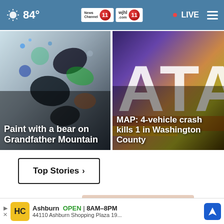84° | News Channel 11 | WJHL 11 | LIVE
[Figure (photo): Left news card: paint splattered on surface with text overlay 'Paint with a bear on Grandfather Mountain']
Paint with a bear on Grandfather Mountain
[Figure (photo): Right news card: colorful background with ATA letters, text overlay 'MAP: 4-vehicle crash kills 1 in Washington County']
MAP: 4-vehicle crash kills 1 in Washington County
Top Stories ›
[Figure (photo): Advertisement image showing a hand/skin, with a close button]
Ashburn OPEN 8AM–8PM 44110 Ashburn Shopping Plaza 19...